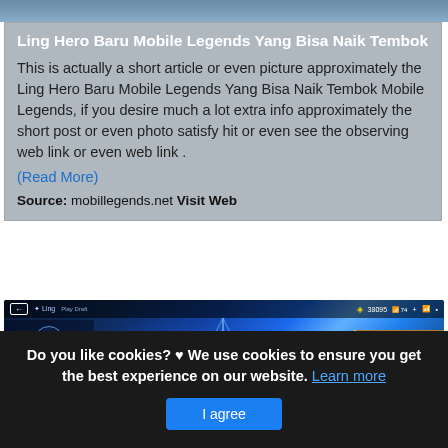[Figure (screenshot): Top portion of a mobile legends webpage showing a blurred game image at the top]
Ling Hero Baru Mobile Legends Yang Bisa Naik Tembok
This is actually a short article or even picture approximately the Ling Hero Baru Mobile Legends Yang Bisa Naik Tembok Mobile Legends, if you desire much a lot extra info approximately the short post or even photo satisfy hit or even see the observing web link or even web link .
(Read More)
Source: mobillegends.net Visit Web
[Figure (screenshot): Mobile Legends game screenshot showing hero selection screen with energy glow effect, sidebar UI with Assassin category, and a blonde character portrait in bottom right]
Do you like cookies? ♥ We use cookies to ensure you get the best experience on our website. Learn more
I agree